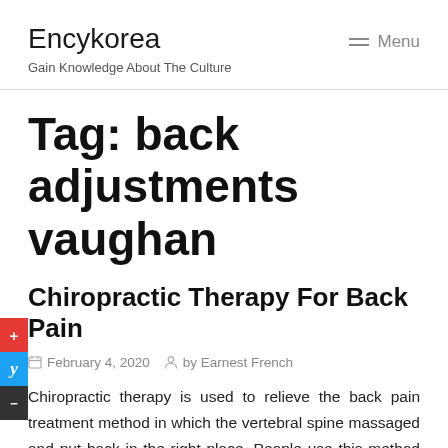Encykorea
Gain Knowledge About The Culture
Tag: back adjustments vaughan
Chiropractic Therapy For Back Pain
February 4, 2020  by Earnest French
Chiropractic therapy is used to relieve the back pain treatment method in which the vertebral spine massaged and put back in the right place. People use this method as a last resort when treating sore back, for sure that all other options fail and